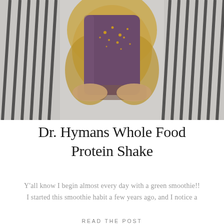[Figure (photo): A person in a black and white striped shirt holding a dark purple smoothie cup with gold toppings, blonde hair visible]
Dr. Hymans Whole Food Protein Shake
Y'all know I begin almost every day with a green smoothie!! I started this smoothie habit a few years ago, and I notice a
READ THE POST